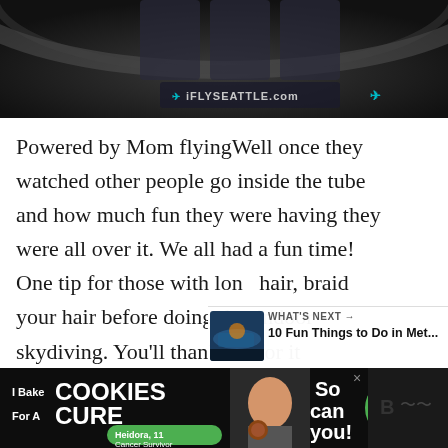[Figure (photo): Dark interior photo of iFLY Seattle indoor skydiving facility, showing curved walls with logo text 'IFLYSEATLE.com' visible]
Powered by Mom flyingWell once they watched other people go inside the tube and how much fun they were having they were all over it. We all had a fun time! One tip for those with long hair, braid your hair before doing this indoor skydiving. You'll thank me for it afterwards.
[Figure (screenshot): What's Next widget showing thumbnail image and text '10 Fun Things to Do in Met...' with arrow]
[Figure (photo): Advertisement banner: 'I Bake COOKIES For A CURE - Heidora, 11 Cancer Survivor - So can you! - cookies for kids cancer' with photo of girl]